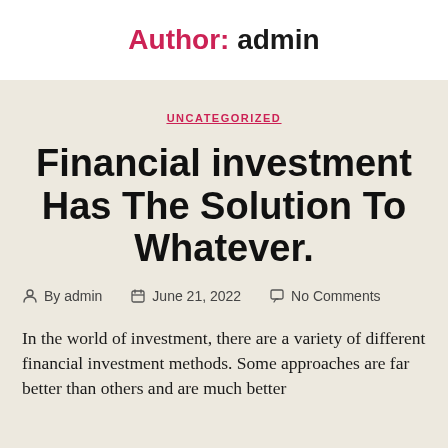Author: admin
UNCATEGORIZED
Financial investment Has The Solution To Whatever.
By admin  June 21, 2022  No Comments
In the world of investment, there are a variety of different financial investment methods. Some approaches are far better than others and are much better